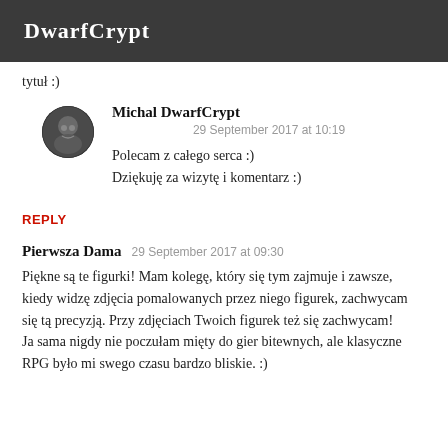DwarfCrypt
tytuł :)
Michal DwarfCrypt
29 September 2017 at 10:19

Polecam z całego serca :)
Dziękuję za wizytę i komentarz :)
REPLY
Pierwsza Dama  29 September 2017 at 09:30

Piękne są te figurki! Mam kolegę, który się tym zajmuje i zawsze, kiedy widzę zdjęcia pomalowanych przez niego figurek, zachwycam się tą precyzją. Przy zdjęciach Twoich figurek też się zachwycam!
Ja sama nigdy nie poczułam mięty do gier bitewnych, ale klasyczne RPG było mi swego czasu bardzo bliskie. :)